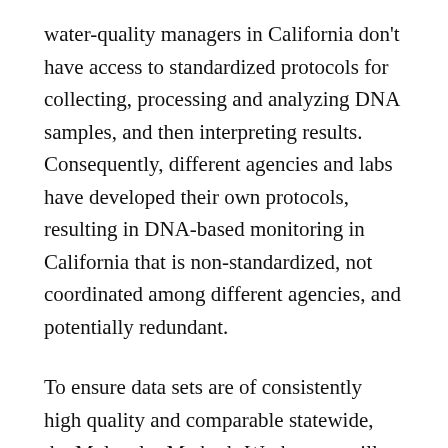water-quality managers in California don't have access to standardized protocols for collecting, processing and analyzing DNA samples, and then interpreting results. Consequently, different agencies and labs have developed their own protocols, resulting in DNA-based monitoring in California that is non-standardized, not coordinated among different agencies, and potentially redundant.
To ensure data sets are of consistently high quality and comparable statewide, the Molecular Methods Workgroup will seek to develop consensus around best practices for DNA-based methods, in much the same way that European countries have been doing through the DNAquaNet group. SCCWRP has been collaborating closely with DNAquaNet participants; an equivalent